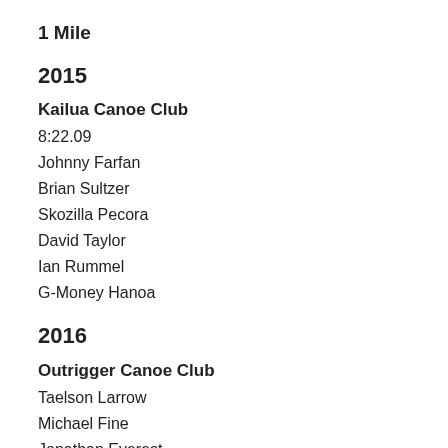1 Mile
2015
Kailua Canoe Club
8:22.09
Johnny Farfan
Brian Sultzer
Skozilla Pecora
David Taylor
Ian Rummel
G-Money Hanoa
2016
Outrigger Canoe Club
Taelson Larrow
Michael Fine
Jonathan Everest